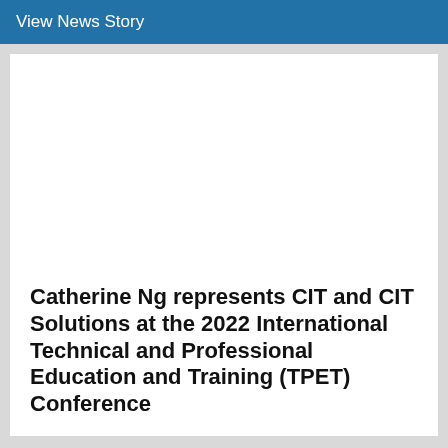View News Story
Catherine Ng represents CIT and CIT Solutions at the 2022 International Technical and Professional Education and Training (TPET) Conference